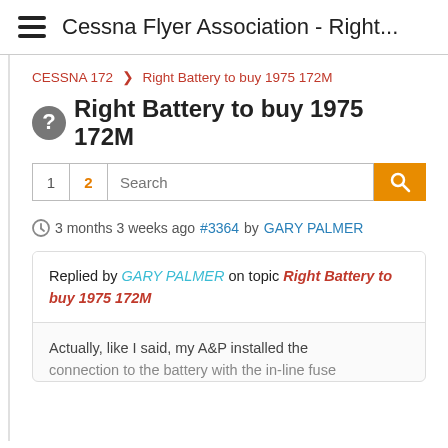Cessna Flyer Association - Right...
CESSNA 172 > Right Battery to buy 1975 172M
Right Battery to buy 1975 172M
1  2  Search
3 months 3 weeks ago #3364 by GARY PALMER
Replied by GARY PALMER on topic Right Battery to buy 1975 172M
Actually, like I said, my A&P installed the connection to the battery with the in-line fuse